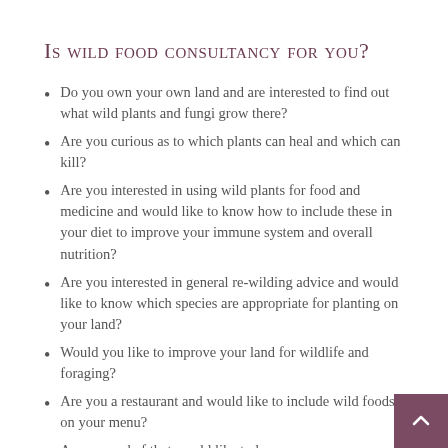Is wild food consultancy for you?
Do you own your own land and are interested to find out what wild plants and fungi grow there?
Are you curious as to which plants can heal and which can kill?
Are you interested in using wild plants for food and medicine and would like to know how to include these in your diet to improve your immune system and overall nutrition?
Are you interested in general re-wilding advice and would like to know which species are appropriate for planting on your land?
Would you like to improve your land for wildlife and foraging?
Are you a restaurant and would like to include wild foods on your menu?
Are you a chef that would like to learn more